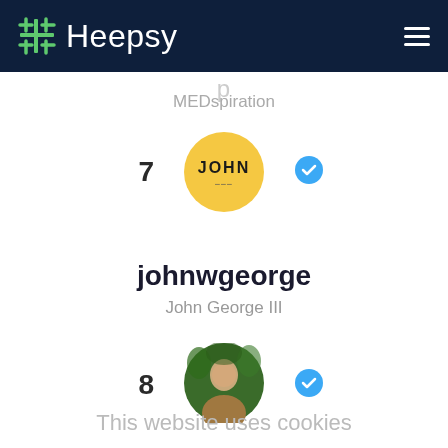Heepsy
MEDspiration
7
[Figure (illustration): Yellow circle avatar with text JOHN inside]
[Figure (illustration): Blue verified badge checkmark icon]
johnwgeorge
John George III
8
[Figure (photo): Circular profile photo of a person outdoors]
[Figure (illustration): Blue verified badge checkmark icon]
This website uses cookies